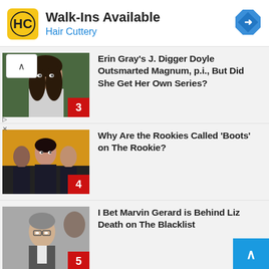[Figure (screenshot): Hair Cuttery advertisement banner with yellow logo, 'Walk-Ins Available' text, and navigation arrow icon]
[Figure (photo): Thumbnail photo of a woman (Erin Gray) with red badge number 3]
Erin Gray’s J. Digger Doyle Outsmarted Magnum, p.i., But Did She Get Her Own Series?
[Figure (photo): Thumbnail photo of police officers from The Rookie with red badge number 4]
Why Are the Rookies Called ‘Boots’ on The Rookie?
[Figure (photo): Thumbnail photo of Marvin Gerard actor with red badge number 5]
I Bet Marvin Gerard is Behind Liz Death on The Blacklist